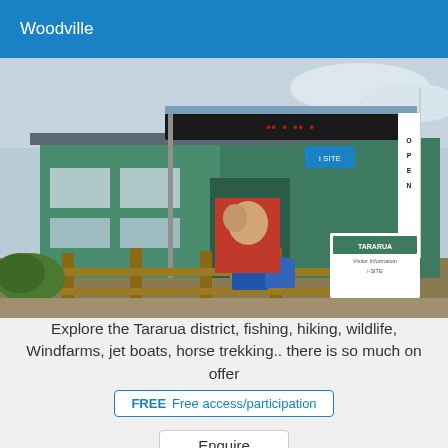Woodville
[Figure (photo): Exterior photo of the Tararua i-SITE visitor information centre building in Woodville, New Zealand. Green painted building with brick sections, wooden post fencing in foreground, blue recycling bins, a bus shelter with an LED display board, signage including OPEN flag and Tararua SITE sign.]
Explore the Tararua district, fishing, hiking, wildlife, Windfarms, jet boats, horse trekking.. there is so much on offer
FREE  Free access/participation
Enquire